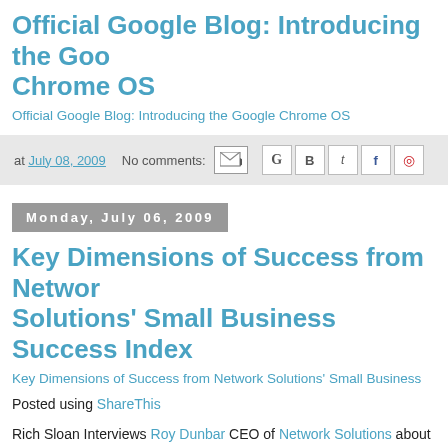Official Google Blog: Introducing the Google Chrome OS
Official Google Blog: Introducing the Google Chrome OS
at July 08, 2009   No comments:
Monday, July 06, 2009
Key Dimensions of Success from Network Solutions' Small Business Success Index
Key Dimensions of Success from Network Solutions' Small Business Success Index
Posted using ShareThis
Rich Sloan Interviews Roy Dunbar CEO of Network Solutions about Business Success index.
The importance of local financial institutions and also the use of Soc